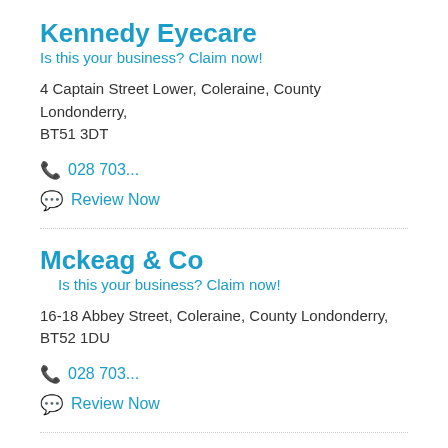Kennedy Eyecare
Is this your business? Claim now!
4 Captain Street Lower, Coleraine, County Londonderry, BT51 3DT
028 703...
Review Now
Mckeag & Co
Is this your business? Claim now!
16-18 Abbey Street, Coleraine, County Londonderry, BT52 1DU
028 703...
Review Now
John Laverty Optometrists
Is this your business? Claim now!